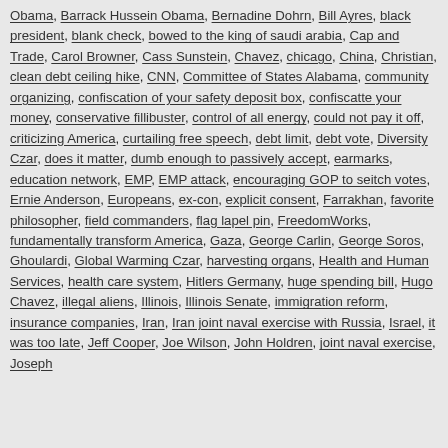Obama, Barrack Hussein Obama, Bernadine Dohrn, Bill Ayres, black president, blank check, bowed to the king of saudi arabia, Cap and Trade, Carol Browner, Cass Sunstein, Chavez, chicago, China, Christian, clean debt ceiling hike, CNN, Committee of States Alabama, community organizing, confiscation of your safety deposit box, confiscatte your money, conservative fillibuster, control of all energy, could not pay it off, criticizing America, curtailing free speech, debt limit, debt vote, Diversity Czar, does it matter, dumb enough to passively accept, earmarks, education network, EMP, EMP attack, encouraging GOP to seitch votes, Ernie Anderson, Europeans, ex-con, explicit consent, Farrakhan, favorite philosopher, field commanders, flag lapel pin, FreedomWorks, fundamentally transform America, Gaza, George Carlin, George Soros, Ghoulardi, Global Warming Czar, harvesting organs, Health and Human Services, health care system, Hitlers Germany, huge spending bill, Hugo Chavez, illegal aliens, Illinois, Illinois Senate, immigration reform, insurance companies, Iran, Iran joint naval exercise with Russia, Israel, it was too late, Jeff Cooper, Joe Wilson, John Holdren, joint naval exercise, Joseph